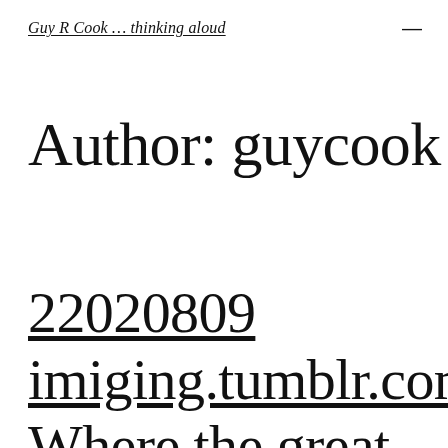Guy R Cook … thinking aloud
Author: guycook
22020809
imiging.tumblr.com
Where the great